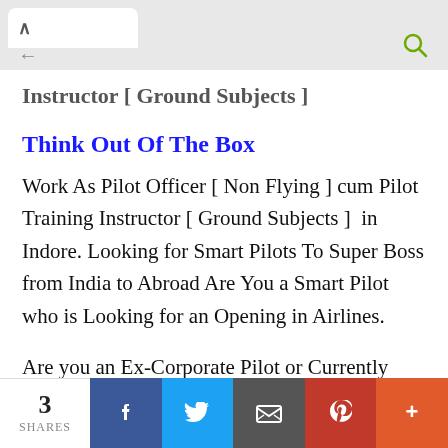Instructor [ Ground Subjects ]
Think Out Of The Box
Work As Pilot Officer [ Non Flying ] cum Pilot Training Instructor [ Ground Subjects ]  in Indore. Looking for Smart Pilots To Super Boss from India to Abroad Are You a Smart Pilot who is Looking for an Opening in Airlines.
Are you an Ex-Corporate Pilot or Currently
3 SHARES | Facebook | Twitter | Email | Pinterest | More